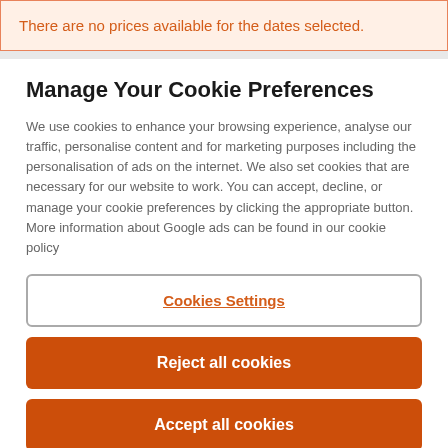There are no prices available for the dates selected.
Manage Your Cookie Preferences
We use cookies to enhance your browsing experience, analyse our traffic, personalise content and for marketing purposes including the personalisation of ads on the internet. We also set cookies that are necessary for our website to work. You can accept, decline, or manage your cookie preferences by clicking the appropriate button. More information about Google ads can be found in our cookie policy
Cookies Settings
Reject all cookies
Accept all cookies